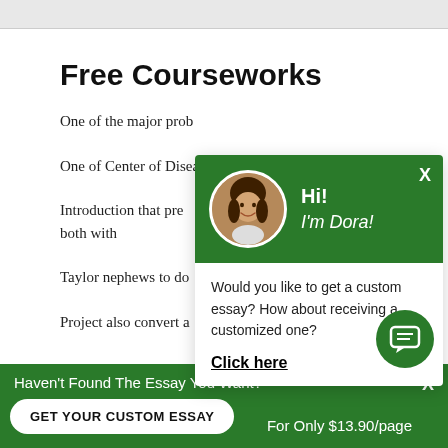Free Courseworks
One of the major prob
One of Center of Disea
Introduction that prev both with
Taylor nephews to do
Project also convert a
[Figure (screenshot): Chat popup with avatar photo of woman named Dora, green header with Hi! I'm Dora!, body text: Would you like to get a custom essay? How about receiving a customized one? Click here]
Haven't Found The Essay You Want?
GET YOUR CUSTOM ESSAY
For Only $13.90/page